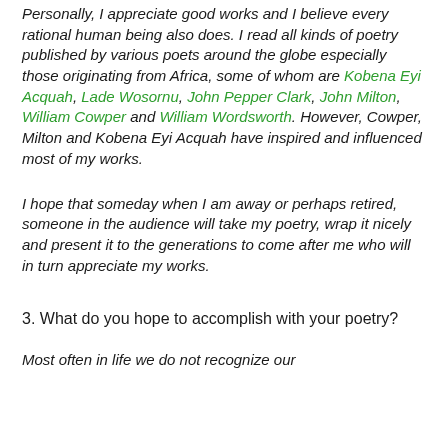Personally, I appreciate good works and I believe every rational human being also does. I read all kinds of poetry published by various poets around the globe especially those originating from Africa, some of whom are Kobena Eyi Acquah, Lade Wosornu, John Pepper Clark, John Milton, William Cowper and William Wordsworth. However, Cowper, Milton and Kobena Eyi Acquah have inspired and influenced most of my works.
I hope that someday when I am away or perhaps retired, someone in the audience will take my poetry, wrap it nicely and present it to the generations to come after me who will in turn appreciate my works.
3. What do you hope to accomplish with your poetry?
Most often in life we do not recognize our